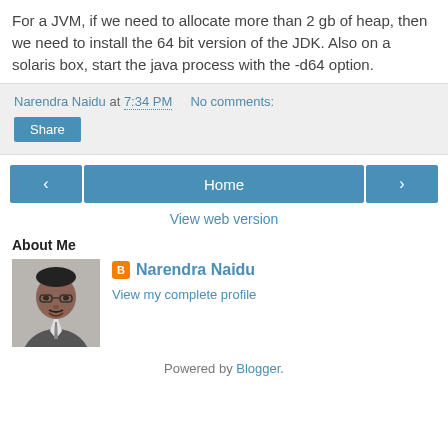For a JVM, if we need to allocate more than 2 gb of heap, then we need to install the 64 bit version of the JDK. Also on a solaris box, start the java process with the -d64 option.
Narendra Naidu at 7:34 PM   No comments:
Share
< Home >
View web version
About Me
[Figure (photo): Profile photo of Narendra Naidu, a man in a suit]
Narendra Naidu
View my complete profile
Powered by Blogger.